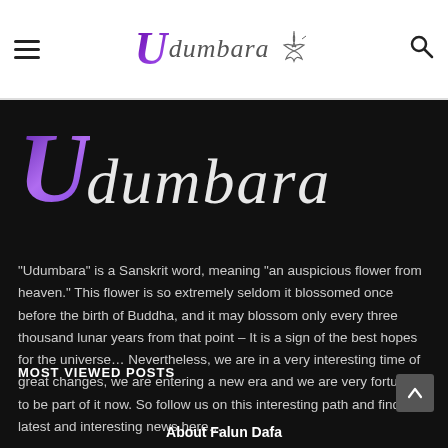Udumbara
[Figure (logo): Udumbara website logo with stylized purple U and cursive text with floral branch]
Udumbara
“Udumbara” is a Sanskrit word, meaning “an auspicious flower from heaven.” This flower is so extremely seldom it blossomed once before the birth of Buddha, and it may blossom only every three thousand lunar years from that point – It is a sign of the best hopes for the universe… Nevertheless, we are in a very interesting time of great changes, we are entering a new era and we are very fortunate to be part of it now. So follow us on this interesting path and find the latest and interesting news here…
MOST VIEWED POSTS
About Falun Dafa